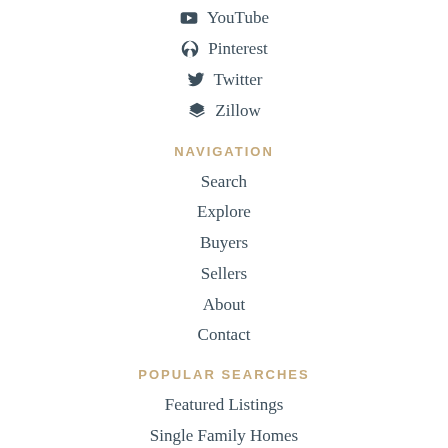YouTube
Pinterest
Twitter
Zillow
NAVIGATION
Search
Explore
Buyers
Sellers
About
Contact
POPULAR SEARCHES
Featured Listings
Single Family Homes
Condos & Townhomes